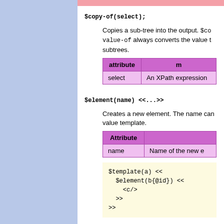$copy-of(select);
Copies a sub-tree into the output. $co... value-of always converts the value t... subtrees.
| attribute | m |
| --- | --- |
| select | An XPath expression |
$element(name) <<...>>
Creates a new element. The name can... value template.
| Attribute |  |
| --- | --- |
| name | Name of the new e |
$template(a) <<
  $element(b{@id}) <<
    <c/>
  >>
>>